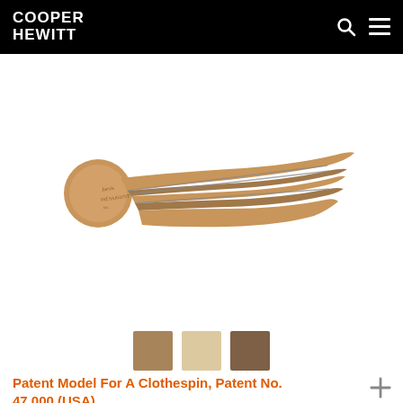COOPER HEWITT
[Figure (photo): A vintage wooden clothespin with metal spring, photographed from above on a white background. The clothespin has two wooden prongs and a rounded head, with text stamped on its body.]
[Figure (infographic): Three color swatches: tan/brown, light beige, and dark brown, representing the colors of the clothespin object.]
Patent Model For A Clothespin, Patent No. 47,000 (USA)